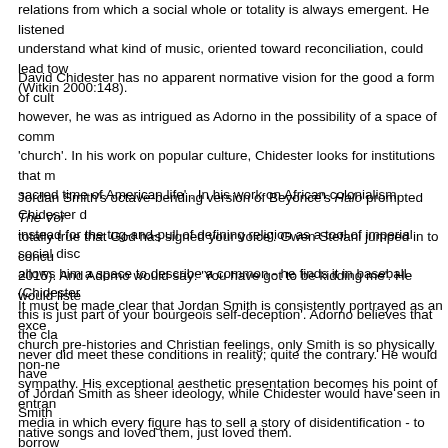relations from which a social whole or totality is always emergent. He listened to understand what kind of music, oriented toward reconciliation, could lead tow (Witkin 2000:148).
David Chidester has no apparent normative vision for the good a form of cult however, he was as intrigued as Adorno in the possibility of a space of comm 'church'. In his work on popular culture, Chidester looks for institutions that m sacred time of American life' . In his work on African colonialism, Chidester d instead for the tug-and-pull of defining religion as a tool of imperial social disc allows him a space to describe a common - he finds it in baseball (Chidester
Jordan Smith's octave-bending version of Beyoncé's Halo prompted The Voi totally true that God has signed your voice'. Gwen Stefani jumped in to concu 2015). And Adorno would say: 'You have got to be kidding me'. He would liste this is just part of your bourgeois self-deception'. Adorno believes that the cla never did meet these conditions in reality; quite the contrary. He would have of Jordan Smith as sheer ideology, while Chidester would have seen in Smith native songs and loved them, just loved them.
It must be made clear that Jordan Smith is consistently portrayed as an exce church pre-histories and Christian feelings, only Smith is so physically non-ne sympathy. His exceptional aesthetic presentation becomes his point of entran media in which every figure has to sell a story of disidentification - to borrow order to seem like one of the gang. Every participant in a show needs to mar normative audience (white, heterosexual, middle class) so that regular Ameri fortunate Eddie Haskell's heel. Thomas Sarmiento has written in reference to social difference have become the new normal' (Sarmiento 2014:213); and M as.the hermeneutical performance of decoding mass, high, or any other cultu is disempowered in such a representational hierarchy' (Muñoz 1999:25). Yet do not diminish its sway. If anything, such a disidentification only lays bare th